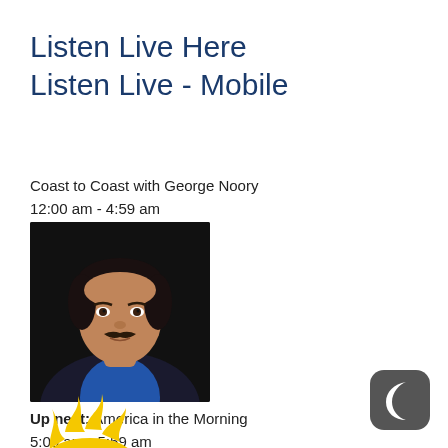Listen Live Here
Listen Live - Mobile
Coast to Coast with George Noory
12:00 am - 4:59 am
[Figure (photo): Headshot of George Noory, a man with dark hair and mustache wearing a blue shirt and dark jacket, against a dark background]
Up next: America in the Morning
5:00 am - 5:59 am
[Figure (logo): Yellow sun with flame rays logo for America in the Morning]
[Figure (logo): Dark gray rounded square icon with white crescent moon symbol]